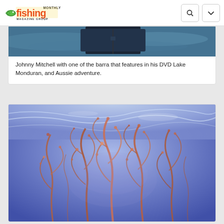fishing Monthly Magazine Group
[Figure (photo): Partial view of a person (Johnny Mitchell) holding a barramundi fish over water, cropped at top of card]
Johnny Mitchell with one of the barra that features in his DVD Lake Monduran, and Aussie adventure.
[Figure (photo): Underwater/surface photograph showing red-orange seaweed or coral tentacles against a blue-purple water background]